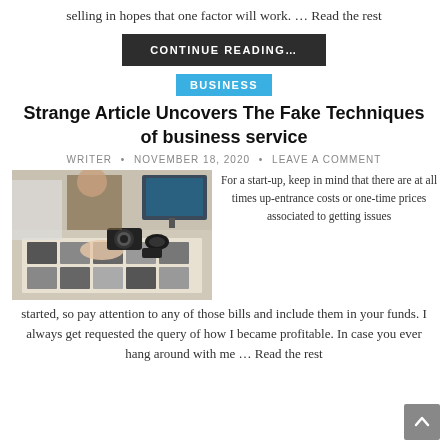selling in hopes that one factor will work. … Read the rest
CONTINUE READING…
BUSINESS
Strange Article Uncovers The Fake Techniques of business service
WRITER • NOVEMBER 18, 2020 • LEAVE A COMMENT
[Figure (photo): Photo of two people reviewing photo prints on a table with cameras and a computer monitor in the background.]
For a start-up, keep in mind that there are at all times up-entrance costs or one-time prices associated to getting issues started, so pay attention to any of those bills and include them in your funds. I always get requested the query of how I became profitable. In case you ever hang around with me … Read the rest